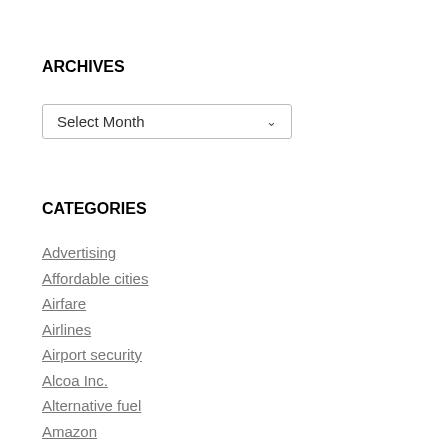ARCHIVES
[Figure (other): Dropdown select widget labeled 'Select Month']
CATEGORIES
Advertising
Affordable cities
Airfare
Airlines
Airport security
Alcoa Inc.
Alternative fuel
Amazon
Apple